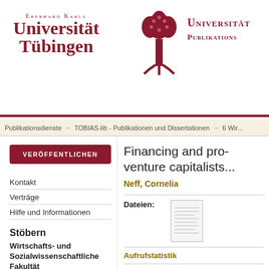EBERHARD KARLS UNIVERSITÄT TÜBINGEN — Universität Publikations...
Publikationsdienste → TOBIAS-lib - Publikationen und Dissertationen → 6 Wir...
VERÖFFENTLICHEN
Kontakt
Verträge
Hilfe und Informationen
Stöbern
Wirtschafts- und Sozialwissenschaftliche Fakultät
Erscheinungsdatum
Autoren
Financing and pro... venture capitalists...
Neff, Cornelia
Dateien:
Aufrufstatistik
Zitierfähiger Link (URI):